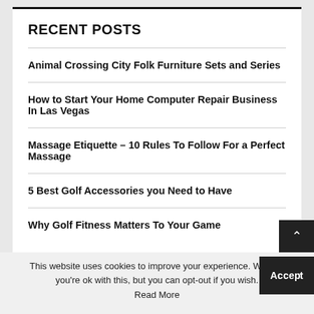RECENT POSTS
Animal Crossing City Folk Furniture Sets and Series
How to Start Your Home Computer Repair Business In Las Vegas
Massage Etiquette – 10 Rules To Follow For a Perfect Massage
5 Best Golf Accessories you Need to Have
Why Golf Fitness Matters To Your Game
This website uses cookies to improve your experience. We'll as you're ok with this, but you can opt-out if you wish. Accept Read More